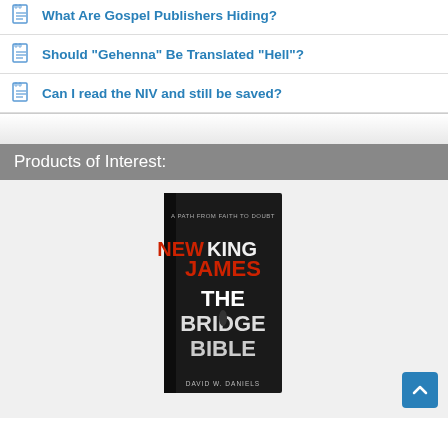What Are Gospel Publishers Hiding?
Should "Gehenna" Be Translated "Hell"?
Can I read the NIV and still be saved?
Products of Interest:
[Figure (photo): Book cover: NEW KING JAMES THE BRIDGE BIBLE by David W. Daniels. A Path from Faith to Doubt. Dark cover with silhouette figure.]